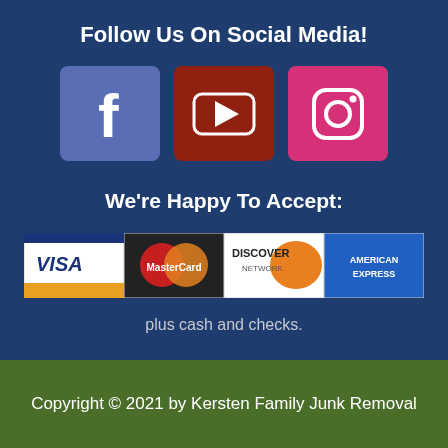Follow Us On Social Media!
[Figure (illustration): Three social media icons: Facebook (purple-blue square with f), YouTube (dark red square with play button), Instagram (pink square with camera icon)]
We're Happy To Accept:
[Figure (illustration): Four payment method logos: VISA, MasterCard, Discover Network, American Express]
plus cash and checks.
Copyright © 2021 by Kersten Family Junk Removal